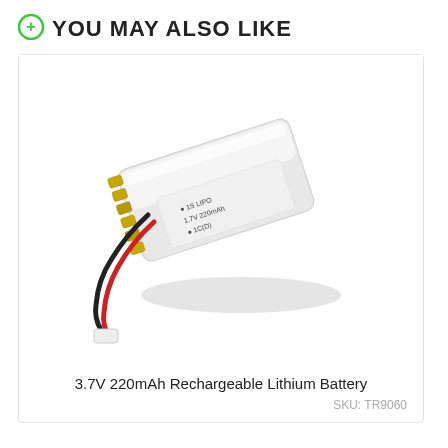YOU MAY ALSO LIKE
[Figure (photo): A small white 3.7V 220mAh rechargeable lithium battery with red and black wires and a gold connector, photographed at an angle on a white background.]
3.7V 220mAh Rechargeable Lithium Battery
SKU: TR9060